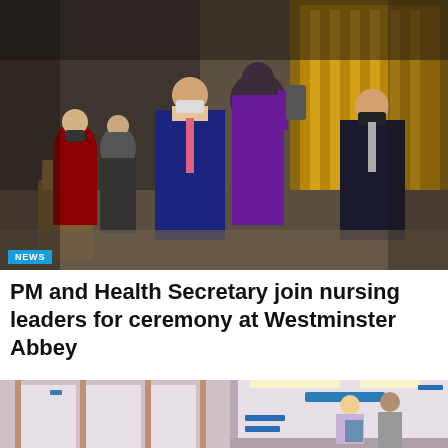[Figure (photo): People wearing face masks inside Westminster Abbey. A nurse in purple scrubs stands with her back to camera, speaking to a man in a navy suit (Health Secretary) and another man in a dark suit (PM Boris Johnson) in the background near a golden altar. Others in ceremonial dress are seated to the left.]
NEWS
PM and Health Secretary join nursing leaders for ceremony at Westminster Abbey
[Figure (photo): A hospital corridor with closed doors on the left, and on the right side a nurse in a light purple uniform holding a clipboard speaks with a young patient in a grey top standing near a Treatment Room sign.]